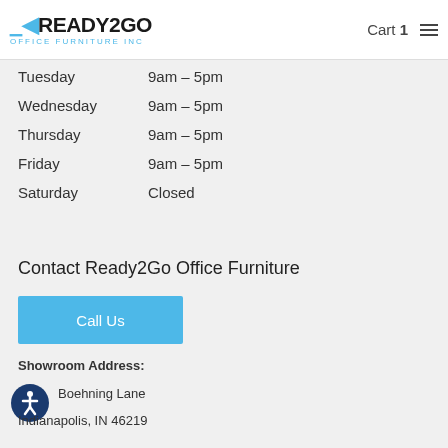Ready2Go Office Furniture Inc — Cart 1
| Day | Hours |
| --- | --- |
| Tuesday | 9am – 5pm |
| Wednesday | 9am – 5pm |
| Thursday | 9am – 5pm |
| Friday | 9am – 5pm |
| Saturday | Closed |
Contact Ready2Go Office Furniture
Call Us
Showroom Address:
Boehning Lane
Indianapolis, IN 46219